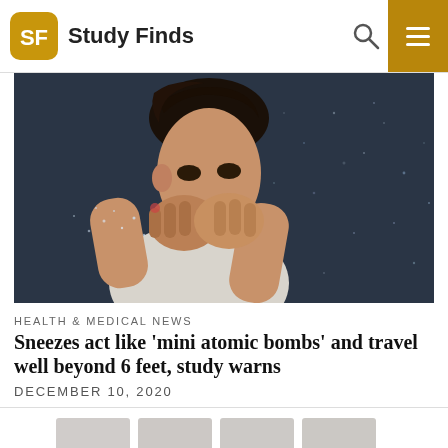Study Finds
[Figure (photo): A person sneezing into their hands, dark stormy background with water droplets visible in the air]
HEALTH & MEDICAL NEWS
Sneezes act like 'mini atomic bombs' and travel well beyond 6 feet, study warns
DECEMBER 10, 2020